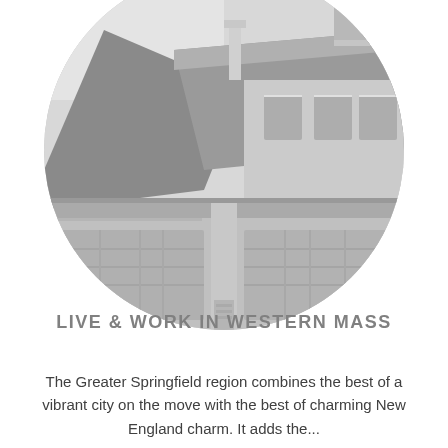[Figure (photo): Circular cropped grayscale photograph of a suburban two-story house with garage doors and roof visible, set against a white background.]
LIVE & WORK IN WESTERN MASS
The Greater Springfield region combines the best of a vibrant city on the move with the best of charming New England charm. It adds the...